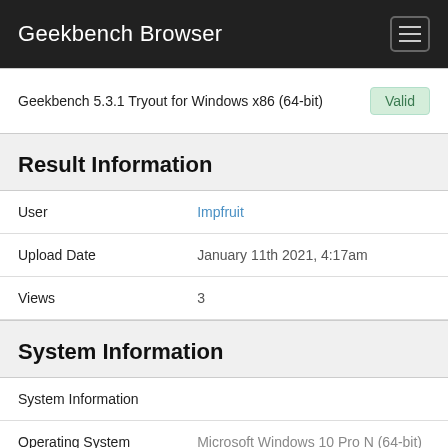Geekbench Browser
Geekbench 5.3.1 Tryout for Windows x86 (64-bit)   Valid
Result Information
| User | Impfruit |
| Upload Date | January 11th 2021, 4:17am |
| Views | 3 |
System Information
| System Information |  |
| Operating System | Microsoft Windows 10 Pro N (64-bit) |